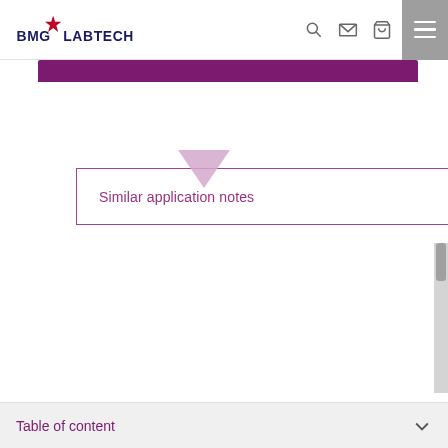[Figure (logo): BMG Labtech logo with red star and text, navigation bar with search, mail, cart icons and hamburger menu]
Similar application notes
[Figure (illustration): Downward pointing light purple triangle/chevron used as a dropdown indicator]
[Figure (photo): Gray placeholder image area with a white circular scroll-up button and a purple circular more-options button with three dots]
Table of content